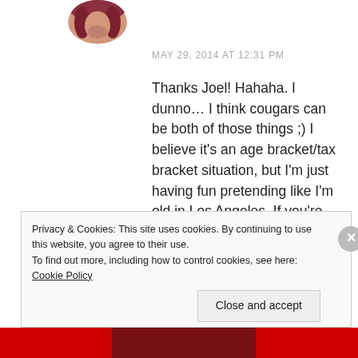[Figure (photo): Circular avatar photo of a woman with dark hair]
MAY 29, 2014 AT 12:31 PM
Thanks Joel! Hahaha. I dunno… I think cougars can be both of those things ;) I believe it's an age bracket/tax bracket situation, but I'm just having fun pretending like I'm old in Los Angeles. If you're not just hitting puberty, you're basically Betty White, around here. Thanks for commenting!
Privacy & Cookies: This site uses cookies. By continuing to use this website, you agree to their use.
To find out more, including how to control cookies, see here: Cookie Policy
Close and accept